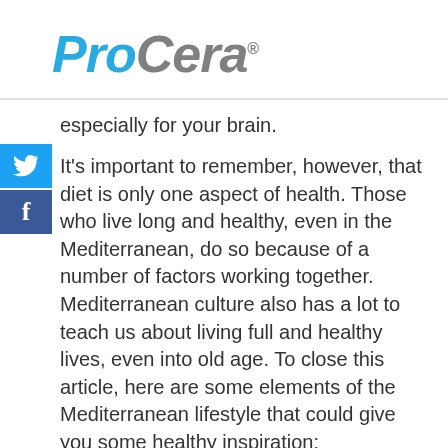[Figure (logo): ProCera logo with 'Pro' in blue italic and 'Cera' in gray italic with registered trademark symbol]
especially for your brain.
It's important to remember, however, that diet is only one aspect of health. Those who live long and healthy, even in the Mediterranean, do so because of a number of factors working together. Mediterranean culture also has a lot to teach us about living full and healthy lives, even into old age. To close this article, here are some elements of the Mediterranean lifestyle that could give you some healthy inspiration: